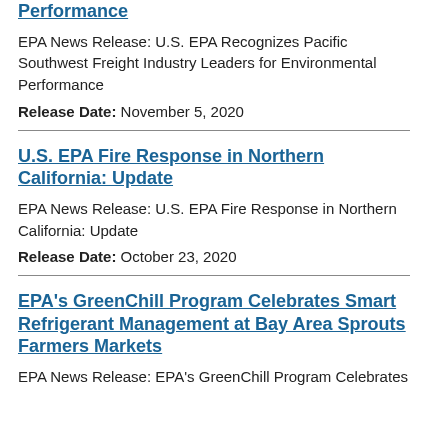Performance
EPA News Release: U.S. EPA Recognizes Pacific Southwest Freight Industry Leaders for Environmental Performance
Release Date: November 5, 2020
U.S. EPA Fire Response in Northern California: Update
EPA News Release: U.S. EPA Fire Response in Northern California: Update
Release Date: October 23, 2020
EPA's GreenChill Program Celebrates Smart Refrigerant Management at Bay Area Sprouts Farmers Markets
EPA News Release: EPA's GreenChill Program Celebrates